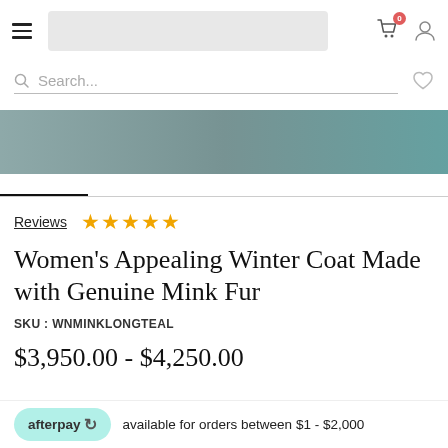Navigation header with hamburger menu, logo area, cart icon with badge 0, and user icon
Search...
[Figure (photo): Product image strip showing a winter coat in teal/blue color on a wooden background]
Reviews ★★★★★
Women's Appealing Winter Coat Made with Genuine Mink Fur
SKU : WNMINKLONGTEAL
$3,950.00 - $4,250.00
afterpay  available for orders between $1 - $2,000